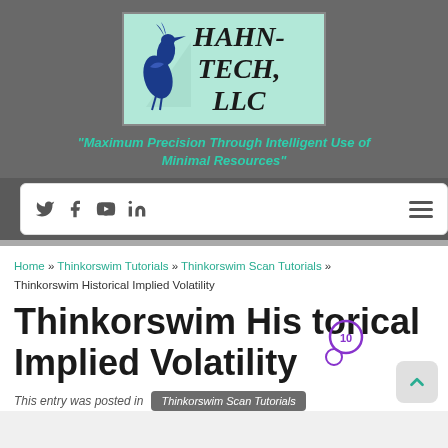[Figure (logo): Hahn-Tech LLC logo with blue heron bird illustration on mint green background]
"Maximum Precision Through Intelligent Use of Minimal Resources"
Social media icons (Twitter, Facebook, YouTube, LinkedIn) and hamburger menu
Home » Thinkorswim Tutorials » Thinkorswim Scan Tutorials » Thinkorswim Historical Implied Volatility
Thinkorswim Historical Implied Volatility
This entry was posted in Thinkorswim Scan Tutorials